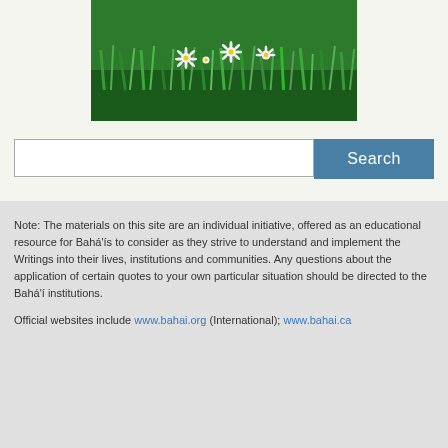[Figure (photo): Photograph of green grass field with white daisy flowers]
[Figure (screenshot): Search bar with text input field and blue Search button]
Note: The materials on this site are an individual initiative, offered as an educational resource for Bahá'ís to consider as they strive to understand and implement the Writings into their lives, institutions and communities. Any questions about the application of certain quotes to your own particular situation should be directed to the Bahá'í institutions.
Official websites include www.bahai.org (International); www.bahai.ca